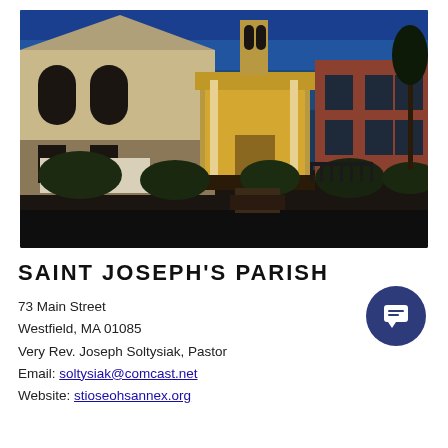[Figure (photo): Nighttime exterior photograph of Saint Joseph's Parish church building. A white/cream-colored church with arched windows on the left, an illuminated entrance portico in the center, and a red brick building on the right. Dark sky, manicured bushes in front, dark foreground street.]
SAINT JOSEPH'S PARISH
73 Main Street
Westfield, MA 01085
Very Rev. Joseph Soltysiak, Pastor
Email: soltysiak@comcast.net
Website: stioseohsannex.org